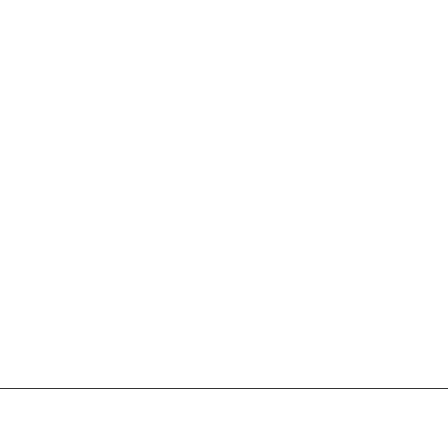|  | an, and Dominican Republic governments to identify taxpayers in those countries. This ID is sometimes referred to as a 'Cedula de Identidad'. |
|  | CNPJ |